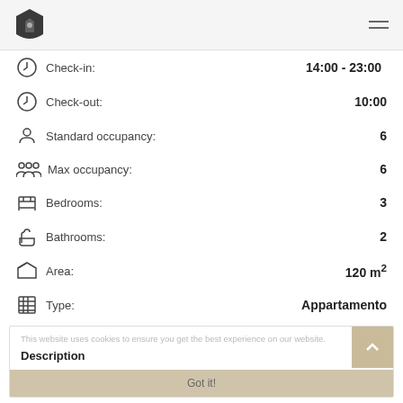Logo and navigation header
Check-in: 14:00 - 23:00
Check-out: 10:00
Standard occupancy: 6
Max occupancy: 6
Bedrooms: 3
Bathrooms: 2
Area: 120 m2
Type: Appartamento
This website uses cookies to ensure you get the best experience on our website.
Description
Luxury Blue Duomo
Got it!